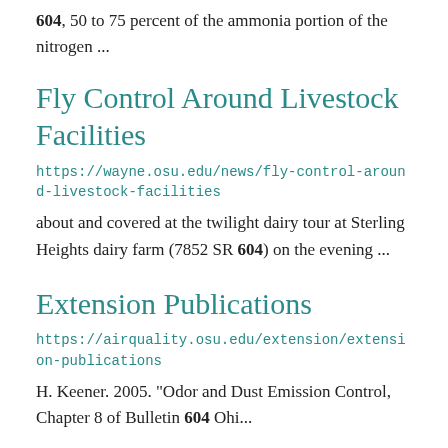604, 50 to 75 percent of the ammonia portion of the nitrogen ...
Fly Control Around Livestock Facilities
https://wayne.osu.edu/news/fly-control-around-livestock-facilities
about and covered at the twilight dairy tour at Sterling Heights dairy farm (7852 SR 604) on the evening ...
Extension Publications
https://airquality.osu.edu/extension/extension-publications
H. Keener. 2005. "Odor and Dust Emission Control, Chapter 8 of Bulletin 604 Ohi...